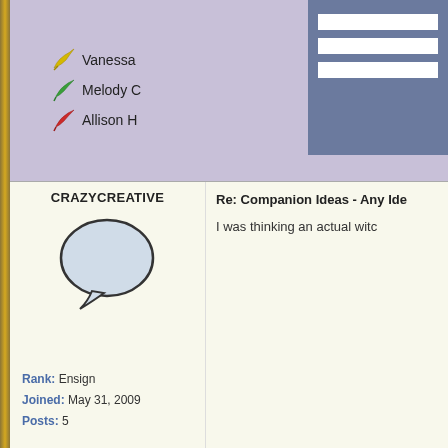[Figure (screenshot): Forum page showing user list with colored icons: yellow for Vanessa, green for Melody C, red for Allison H, with a blue-gray hamburger menu overlay panel in top right]
CRAZYCREATIVE
[Figure (illustration): Speech bubble avatar icon (gray/light blue outline) for user CrazyCreative]
Re: Companion Ideas - Any Ide
I was thinking an actual witc
Rank: Ensign
Joined: May 31, 2009
Posts: 5
BOBTHUNDER85D
[Figure (illustration): Speech bubble avatar icon for user BobThunder85D]
Re: Companion Ideas - Any Ide
I think One Eyed Jack is aw
Crazy Elijah Hobart